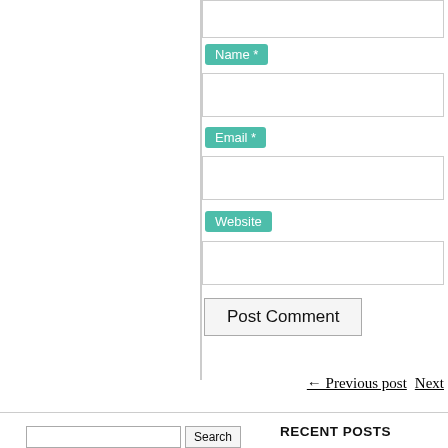Name *
Email *
Website
Post Comment
← Previous post   Next
Search
RECENT POSTS